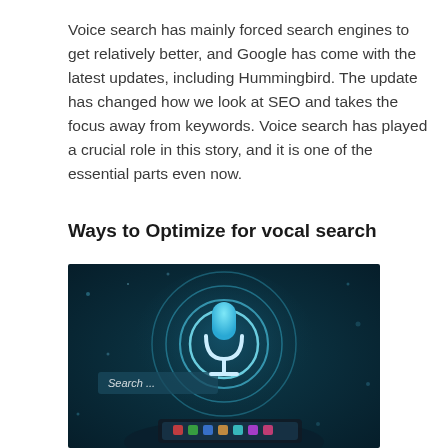Voice search has mainly forced search engines to get relatively better, and Google has come with the latest updates, including Hummingbird. The update has changed how we look at SEO and takes the focus away from keywords. Voice search has played a crucial role in this story, and it is one of the essential parts even now.
Ways to Optimize for vocal search
[Figure (photo): A person holding a smartphone with a glowing holographic microphone icon and circular rings above it, with a 'Search...' text field visible, against a dark teal/blue background with bokeh lights.]